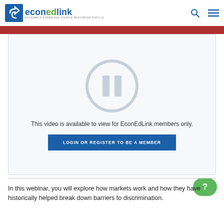econedlink — Economics & Personal Finance Resources for K-12
[Figure (screenshot): Paused video player showing a pause icon (two vertical bars inside a circle) on a light gray background, with the message 'This video is available to view for EconEdLink members only.' and a blue button 'LOGIN OR REGISTER TO BE A MEMBER']
In this webinar, you will explore how markets work and how they have historically helped break down barriers to discrimination.